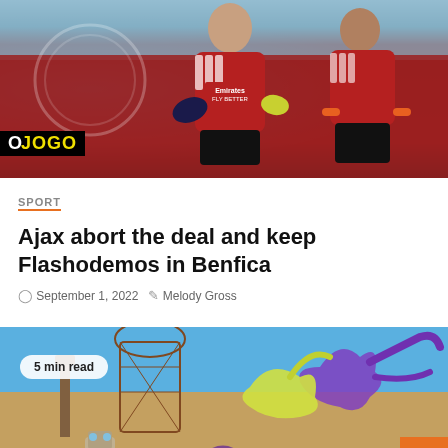[Figure (photo): Two soccer players in red Emirates Fly Better jerseys (Benfica kit) on a training ground. One faces the camera wearing goalkeeper gloves. An O JOGO logo badge is overlaid at bottom left.]
SPORT
Ajax abort the deal and keep Flashodemos in Benfica
September 1, 2022   Melody Gross
[Figure (photo): Colorful video game screenshot showing animated creature characters with purple and yellow colors in a desert-like environment. A '5 min read' badge appears at top left.]